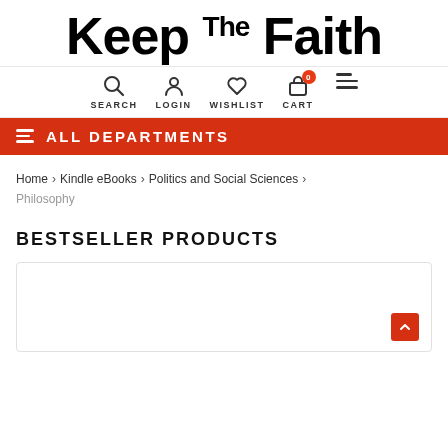Keep The Faith
[Figure (screenshot): Navigation icons: Search, Login, Wishlist, Cart (with 0 badge), and hamburger menu]
ALL DEPARTMENTS
Home > Kindle eBooks > Politics and Social Sciences > Philosophy
BESTSELLER PRODUCTS
[Figure (other): Product card placeholder with back-to-top red button]